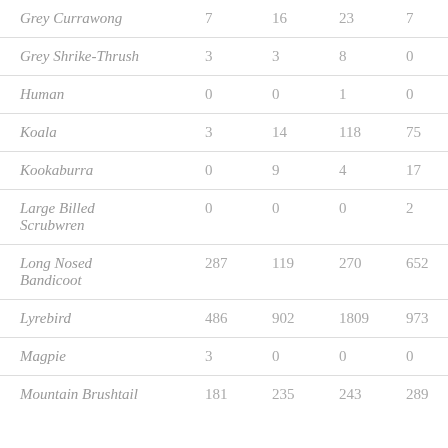| Species | Col1 | Col2 | Col3 | Col4 |
| --- | --- | --- | --- | --- |
| Grey Currawong | 7 | 16 | 23 | 7 |
| Grey Shrike-Thrush | 3 | 3 | 8 | 0 |
| Human | 0 | 0 | 1 | 0 |
| Koala | 3 | 14 | 118 | 75 |
| Kookaburra | 0 | 9 | 4 | 17 |
| Large Billed Scrubwren | 0 | 0 | 0 | 2 |
| Long Nosed Bandicoot | 287 | 119 | 270 | 652 |
| Lyrebird | 486 | 902 | 1809 | 973 |
| Magpie | 3 | 0 | 0 | 0 |
| Mountain Brushtail | 181 | 235 | 243 | 289 |